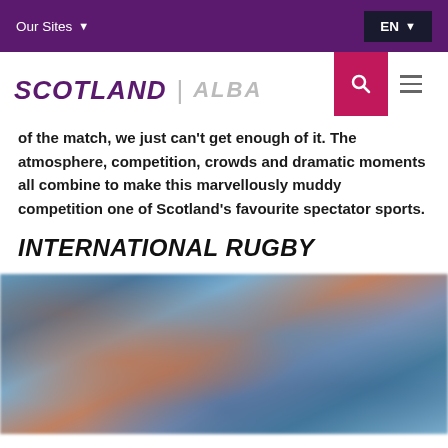Our Sites | EN
SCOTLAND | ALBA
of the match, we just can't get enough of it. The atmosphere, competition, crowds and dramatic moments all combine to make this marvellously muddy competition one of Scotland's favourite spectator sports.
INTERNATIONAL RUGBY
[Figure (photo): Blurred action photo of rugby players in blue and dark jerseys during an international rugby match]